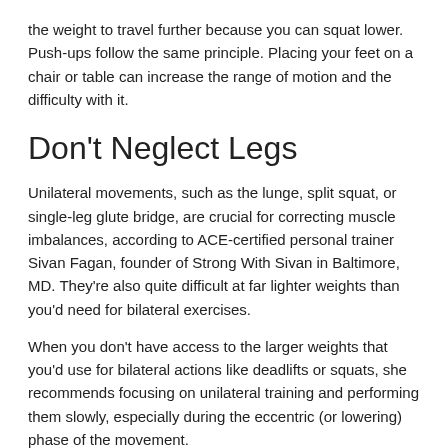the weight to travel further because you can squat lower. Push-ups follow the same principle. Placing your feet on a chair or table can increase the range of motion and the difficulty with it.
Don't Neglect Legs
Unilateral movements, such as the lunge, split squat, or single-leg glute bridge, are crucial for correcting muscle imbalances, according to ACE-certified personal trainer Sivan Fagan, founder of Strong With Sivan in Baltimore, MD. They're also quite difficult at far lighter weights than you'd need for bilateral exercises.
When you don't have access to the larger weights that you'd use for bilateral actions like deadlifts or squats, she recommends focusing on unilateral training and performing them slowly, especially during the eccentric (or lowering) phase of the movement.
Define your Strength Training